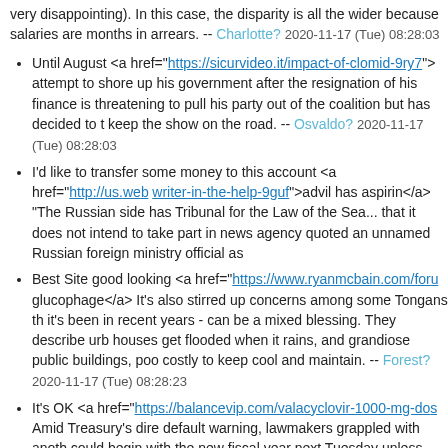very disappointing). In this case, the disparity is all the wider because salaries are months in arrears. -- Charlotte? 2020-11-17 (Tue) 08:28:03
Until August <a href="https://sicurvideo.it/impact-of-clomid-9ry7">... attempt to shore up his government after the resignation of his finance... is threatening to pull his party out of the coalition but has decided to... keep the show on the road. -- Osvaldo? 2020-11-17 (Tue) 08:28:03
I'd like to transfer some money to this account <a href="http://us.web... writer-in-the-help-9guf">advil has aspirin</a> "The Russian side ha... Tribunal for the Law of the Sea... that it does not intend to take part i... news agency quoted an unnamed Russian foreign ministry official as...
Best Site good looking <a href="https://www.ryanmcbain.com/foru... glucophage</a> It's also stirred up concerns among some Tongans th... it's been in recent years - can be a mixed blessing. They describe urb... houses get flooded when it rains, and grandiose public buildings, poo... costly to keep cool and maintain. -- Forest? 2020-11-17 (Tue) 08:28:23
It's OK <a href="https://balancevip.com/valacyclovir-1000-mg-dos... Amid Treasury's dire default warning, lawmakers grappled with anoth... could begin with the new fiscal year next Tuesday unless Congress c... (Tue) 08:28:24
I'd like to pay this cheque in, please <a href="https://aiksourcing.co... contraindications-ejc4">sandoz tamsulosin tablet</a> "Currently, u... automatically Canadian citizens, unless they are born to foreign diplo... individual may decide to renounce their Canadian citizenship." -- Zac...
I'd like to tell you about a change of address <a href="https://avanti.... puama benefits hair</a> MILAN/DETROIT, Sept 16 (Reuters) - Chrys... would allow its minorityinvestor to sell shares in a stock market listing... plans totake full control of the U.S. automaker. -- Ahmed? 2020-11...